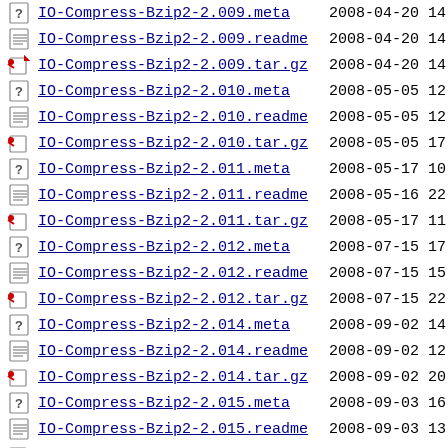IO-Compress-Bzip2-2.009.meta  2008-04-20 14
IO-Compress-Bzip2-2.009.readme  2008-04-20 14
IO-Compress-Bzip2-2.009.tar.gz  2008-04-20 14
IO-Compress-Bzip2-2.010.meta  2008-05-05 12
IO-Compress-Bzip2-2.010.readme  2008-05-05 12
IO-Compress-Bzip2-2.010.tar.gz  2008-05-05 17
IO-Compress-Bzip2-2.011.meta  2008-05-17 10
IO-Compress-Bzip2-2.011.readme  2008-05-16 22
IO-Compress-Bzip2-2.011.tar.gz  2008-05-17 11
IO-Compress-Bzip2-2.012.meta  2008-07-15 17
IO-Compress-Bzip2-2.012.readme  2008-07-15 15
IO-Compress-Bzip2-2.012.tar.gz  2008-07-15 22
IO-Compress-Bzip2-2.014.meta  2008-09-02 14
IO-Compress-Bzip2-2.014.readme  2008-09-02 12
IO-Compress-Bzip2-2.014.tar.gz  2008-09-02 20
IO-Compress-Bzip2-2.015.meta  2008-09-03 16
IO-Compress-Bzip2-2.015.readme  2008-09-03 13
IO-Compress-Bzip2-2.015.tar.gz  2008-09-03 20